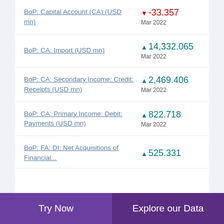BoP: Capital Account (CA) (USD mn) ▼ -33.357 Mar 2022
BoP: CA: Import (USD mn) ▲ 14,332.065 Mar 2022
BoP: CA: Secondary Income: Credit: Receipts (USD mn) ▲ 2,469.406 Mar 2022
BoP: CA: Primary Income: Debit: Payments (USD mn) ▲ 822.718 Mar 2022
BoP: FA: DI: Net Acquisitions of Financial... ▲ 525.331
Try Now   Explore our Data